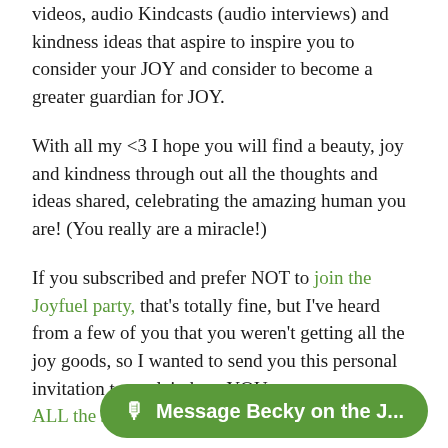videos, audio Kindcasts (audio interviews) and kindness ideas that aspire to inspire you to consider your JOY and consider to become a greater guardian for JOY.
With all my <3 I hope you will find a beauty, joy and kindness through out all the thoughts and ideas shared, celebrating the amazing human you are! (You really are a miracle!)
If you subscribed and prefer NOT to join the Joyfuel party, that's totally fine, but I've heard from a few of you that you weren't getting all the joy goods, so I wanted to send you this personal invitation to explain how YOU too, can access ALL the JOY.
Questions, or not sure if you are registered? Email me here.
[Figure (other): Green chat button with microphone icon reading 'Message Becky on the J...']